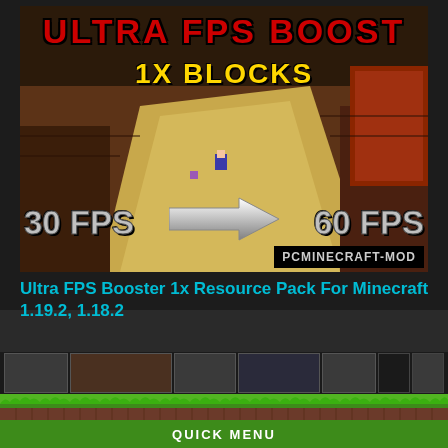[Figure (screenshot): Minecraft Ultra FPS Boost 1x Blocks resource pack promotional thumbnail showing a Minecraft scene with text overlays: 'ULTRA FPS BOOST' in red, '1X BLOCKS' in yellow, '30 FPS' on left, arrow pointing right, '60 FPS' on right, and 'PCMINECRAFT-MOD' badge]
Ultra FPS Booster 1x Resource Pack For Minecraft 1.19.2, 1.18.2
[Figure (screenshot): Thumbnail strip showing small preview images]
QUICK MENU
Download Minecraft
Minecraft Mods